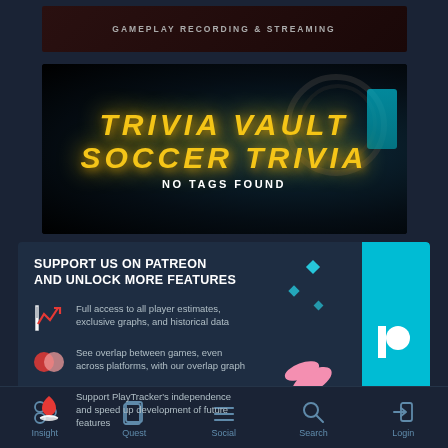[Figure (screenshot): Dark banner showing 'GAMEPLAY RECORDING & STREAMING' text on a dark red/black background]
[Figure (screenshot): Game header image for 'TRIVIA VAULT SOCCER TRIVIA' with gold italicized text on dark background with vault imagery, overlaid with 'NO TAGS FOUND' text]
SUPPORT US ON PATREON AND UNLOCK MORE FEATURES
Full access to all player estimates, exclusive graphs, and historical data
See overlap between games, even across platforms, with our overlap graph
Support PlayTracker's independence and speed up development of future features
Insight  Quest  Social  Search  Login